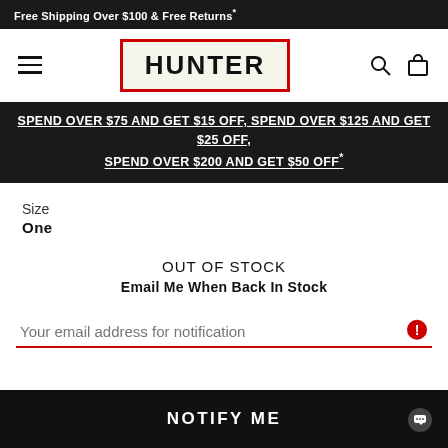Free Shipping Over $100 & Free Returns*
[Figure (logo): Hunter brand logo in red border box]
SPEND OVER $75 AND GET $15 OFF, SPEND OVER $125 AND GET $25 OFF, SPEND OVER $200 AND GET $50 OFF*
Size
One
OUT OF STOCK
Email Me When Back In Stock
Your email address for notification
NOTIFY ME